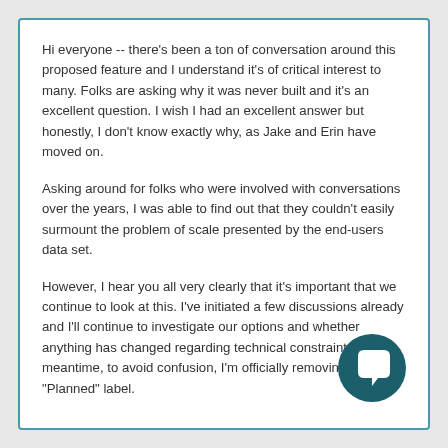Hi everyone -- there's been a ton of conversation around this proposed feature and I understand it's of critical interest to many. Folks are asking why it was never built and it's an excellent question. I wish I had an excellent answer but honestly, I don't know exactly why, as Jake and Erin have moved on.

Asking around for folks who were involved with conversations over the years, I was able to find out that they couldn't easily surmount the problem of scale presented by the end-users data set.

However, I hear you all very clearly that it's important that we continue to look at this. I've initiated a few discussions already and I'll continue to investigate our options and whether anything has changed regarding technical constraints. In the meantime, to avoid confusion, I'm officially removing the "Planned" label.
[Figure (illustration): Dark teal circular chat bubble icon with a white speech bubble symbol inside]